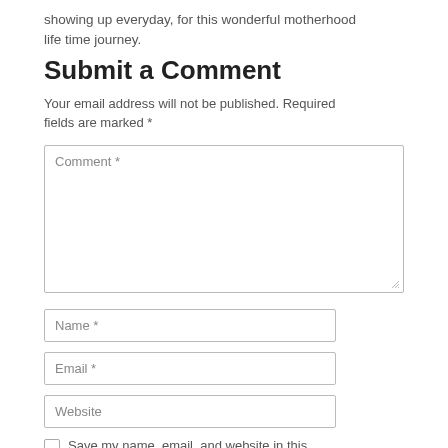showing up everyday, for this wonderful motherhood life time journey.
Submit a Comment
Your email address will not be published. Required fields are marked *
Comment *
Name *
Email *
Website
Save my name, email, and website in this